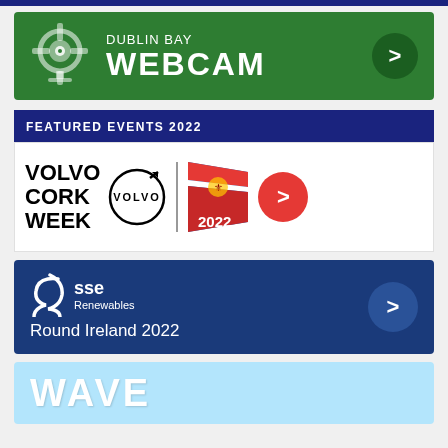[Figure (logo): Dublin Bay Webcam green banner with webcam icon and arrow button]
FEATURED EVENTS 2022
[Figure (logo): Volvo Cork Week 2022 white banner with Volvo logo, Norwegian flag logo, and red arrow button]
[Figure (logo): SSE Renewables Round Ireland 2022 dark blue banner with SSE logo and arrow button]
[Figure (logo): WAVE light blue banner partial view at bottom]